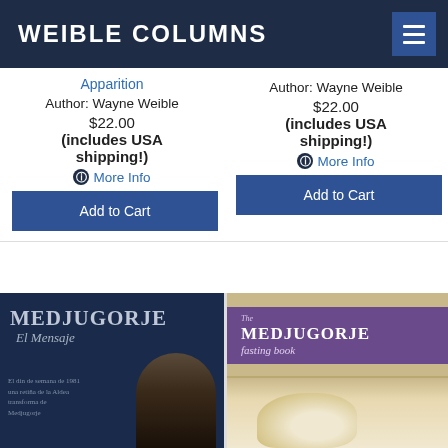WEIBLE COLUMNS
Apparition
Author: Wayne Weible
$22.00
(includes USA shipping!)
More Info
Add to Cart
Author: Wayne Weible
$22.00
(includes USA shipping!)
More Info
Add to Cart
[Figure (photo): Book cover: Medjugorje El Mensaje, dark blue background with title text and a woman's face silhouette]
[Figure (photo): Book cover: The Medjugorje Fasting Book, purple banner with title on a food/bread background]